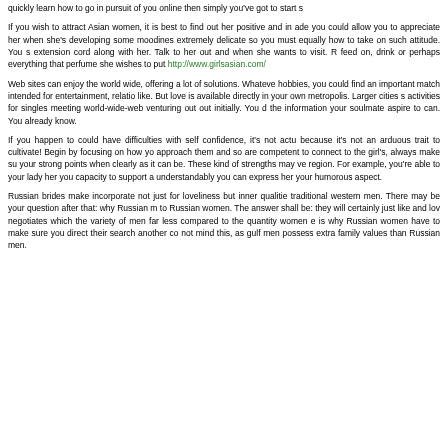quickly learn how to go in pursuit of you online then simply you've got to start s
If you wish to attract Asian women, it is best to find out her positive and in ade you could allow you to appreciate her when she's developing some moodines extremely delicate so you must equally how to take on such attitude. You s extension cord along with her. Talk to her out and when she wants to visit. R feed on, drink or perhaps everything that perfume she wishes to put http://www.girlsasian.com/
Web sites can enjoy the world wide, offering a lot of solutions. Whateve hobbies, you could find an important match intended for entertainment, relatio like. But love is available directly in your own metropolis. Larger cities s activities for singles meeting world-wide-web venturing out out initially. You d the information your soulmate aspire to can. You already know.
If you happen to could have difficulties with self confidence, it's not actu because it's not an arduous trait to cultivate! Begin by focusing on how yo approach them and so are competent to connect to the girl's, always make su your strong points when clearly as it can be. These kind of strengths may ve region. For example, you're able to your lady her you capacity to support a understandably you can express her your humorous aspect.
Russian brides make incorporate not just for loveliness but inner qualitie traditional western men. There may be your question after that: why Russian m to Russian women. The answer shall be: they will certainly just like and lov negotiates which the variety of men far less compared to the quantity women is why Russian women have to make sure you direct their search another co not mind this, as gulf men possess extra family values than Russian men.